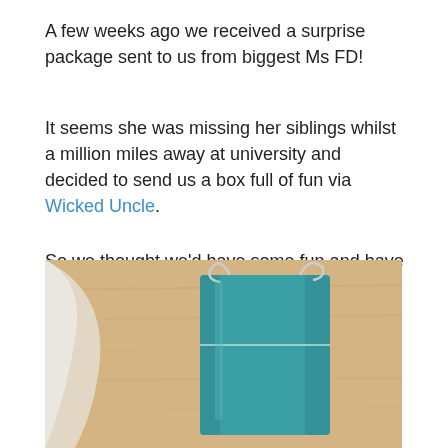A few weeks ago we received a surprise package sent to us from biggest Ms FD!
It seems she was missing her siblings whilst a million miles away at university and decided to send us a box full of fun via Wicked Uncle.
So we thought we'd have some fun and have a Roald Dahl inspired disco-style tea in the dark. Who wouldn't love that?
[Figure (photo): Photo of a teal/turquoise gift bag with rope handles on a wooden surface with white fabric/tissue paper visible]